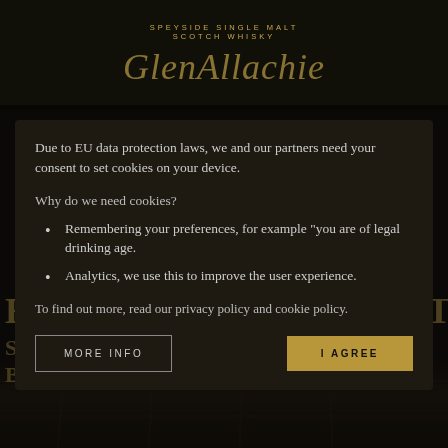SPEYSIDE SINGLE MALT SCOTCH WHISKY / GlenAllachie
Due to EU data protection laws, we and our partners need your consent to set cookies on your device.
Why do we need cookies?
Remembering your preferences, for example "you are of legal drinking age.
Analytics, we use this to improve the user experience.
To find out more, read our privacy policy and cookie policy.
MORE INFO
I AGREE